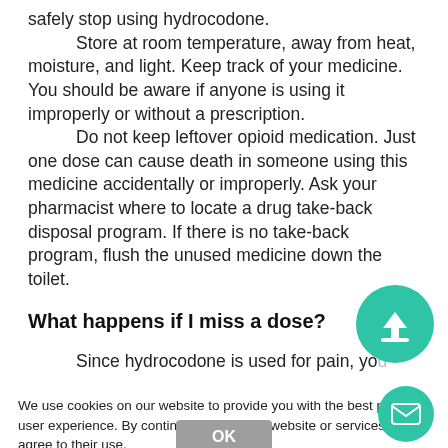safely stop using hydrocodone. Store at room temperature, away from heat, moisture, and light. Keep track of your medicine. You should be aware if anyone is using it improperly or without a prescription. Do not keep leftover opioid medication. Just one dose can cause death in someone using this medicine accidentally or improperly. Ask your pharmacist where to locate a drug take-back disposal program. If there is no take-back program, flush the unused medicine down the toilet.
What happens if I miss a dose?
Since hydrocodone is used for pain, yo...
We use cookies on our website to provide you with the best possible user experience. By continuing to use our website or services, you agree to their use.
not use two doses at once.